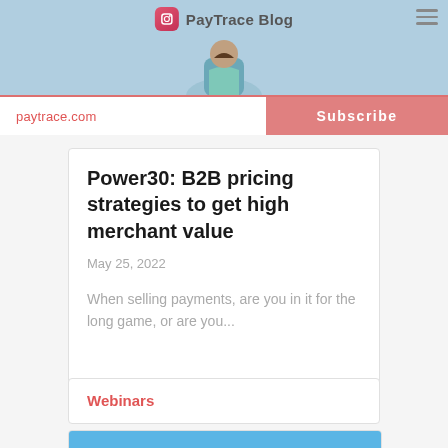PayTrace Blog
paytrace.com
Subscribe
Power30: B2B pricing strategies to get high merchant value
May 25, 2022
When selling payments, are you in it for the long game, or are you...
Webinars
[Figure (illustration): Blue background with illustrated figure at bottom, partial view]